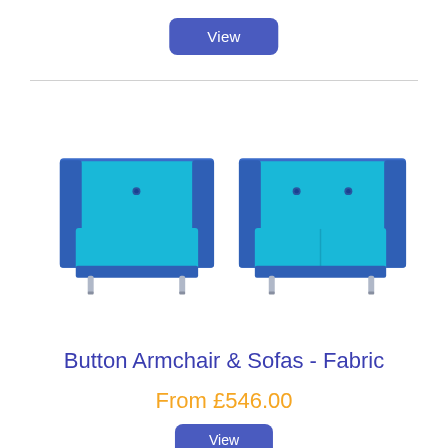View
[Figure (photo): Two modern button-tufted armchair and sofa set in two-tone blue and teal fabric with silver metal legs. Left item is a single armchair; right item is a two-seater sofa. Both have a boxy modern design.]
Button Armchair & Sofas - Fabric
From £546.00
View